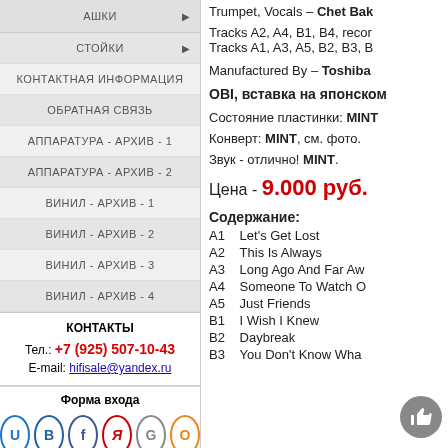СТОЙКИ
КОНТАКТНАЯ ИНФОРМАЦИЯ
ОБРАТНАЯ СВЯЗЬ
АППАРАТУРА - АРХИВ - 1
АППАРАТУРА - АРХИВ - 2
ВИНИЛ - АРХИВ - 1
ВИНИЛ - АРХИВ - 2
ВИНИЛ - АРХИВ - 3
ВИНИЛ - АРХИВ - 4
КОНТАКТЫ
Тел.: +7 (925) 507-10-43
E-mail: hifisale@yandex.ru
Форма входа
ПОИСК ПО САЙТУ
Trumpet, Vocals – Chet Bak
Tracks A2, A4, B1, B4, record
Tracks A1, A3, A5, B2, B3, B
Manufactured By – Toshiba
OBI, вставка на японском
Состояние пластинки: MINT
Конверт: MINT, см. фото.
Звук - отлично! MINT.
Цена - 9.000 руб.
Содержание:
| Track | Title |
| --- | --- |
| A1 | Let's Get Lost |
| A2 | This Is Always |
| A3 | Long Ago And Far Aw |
| A4 | Someone To Watch O |
| A5 | Just Friends |
| B1 | I Wish I Knew |
| B2 | Daybreak |
| B3 | You Don't Know Wha |